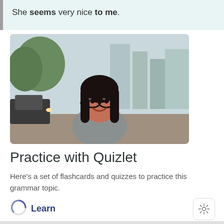She seems very nice to me.
[Figure (photo): Young woman with glasses smiling on a city street with cars and buildings in the background]
Practice with Quizlet
Here's a set of flashcards and quizzes to practice this grammar topic.
Learn